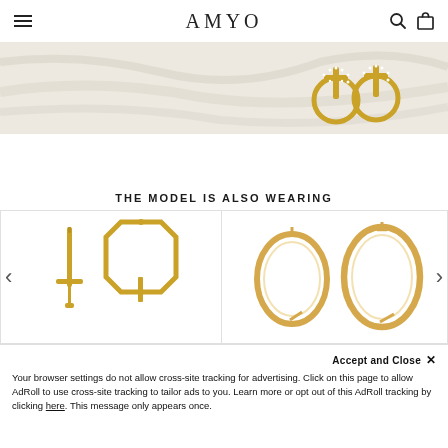AMYO
[Figure (photo): Banner image showing gold cross/letter earrings on light fabric background]
THE MODEL IS ALSO WEARING
[Figure (photo): Gold sword and hoop earrings product photo]
[Figure (photo): Gold hoop earrings product photo]
Accept and Close ×
Your browser settings do not allow cross-site tracking for advertising. Click on this page to allow AdRoll to use cross-site tracking to tailor ads to you. Learn more or opt out of this AdRoll tracking by clicking here. This message only appears once.